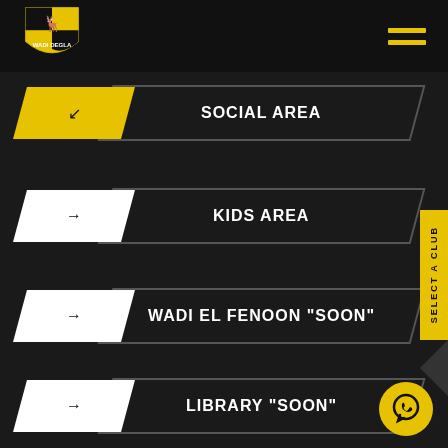[Figure (logo): Wadi Degla club logo - shield shape with yellow and black colors, deer figure, text WADI DEGLA]
SOCIAL AREA
KIDS AREA
WADI EL FENOON "SOON"
LIBRARY "SOON"
SELECT A CLUB
[Figure (illustration): WhatsApp icon button in yellow circle]